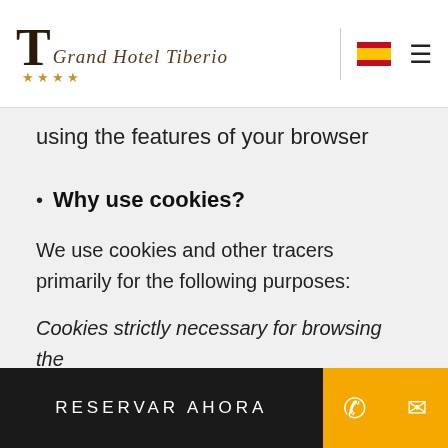Grand Hotel Tiberio — logo and navigation header
using the features of your browser
Why use cookies?
We use cookies and other tracers primarily for the following purposes:
Cookies strictly necessary for browsing the https://www.ghtiberio.com/ and the ability to use all of their features, and intended in particular to:
RESERVAR AHORA